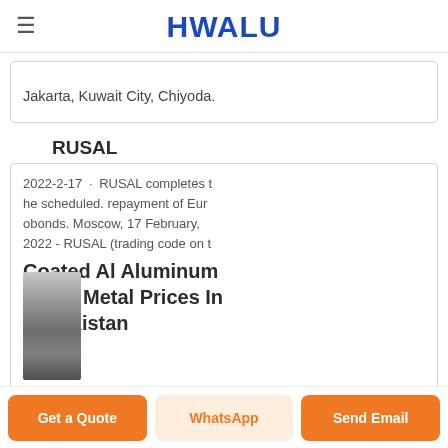HWALU
Jakarta, Kuwait City, Chiyoda.
RUSAL
2022-2-17 · RUSAL completes the scheduled. repayment of Eurobonds. Moscow, 17 February, 2022 - RUSAL (trading code on t
Coated Al Aluminum Sheet Metal Prices In Uzbekistan
[Figure (photo): Thumbnail of coated aluminum sheet metal]
Get a Quote
WhatsApp
Send Email